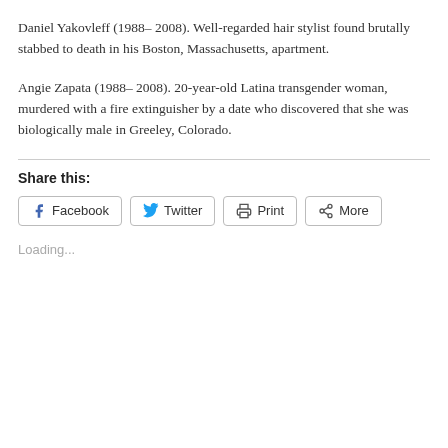Daniel Yakovleff (1988– 2008). Well-regarded hair stylist found brutally stabbed to death in his Boston, Massachusetts, apartment.
Angie Zapata (1988– 2008). 20-year-old Latina transgender woman, murdered with a fire extinguisher by a date who discovered that she was biologically male in Greeley, Colorado.
Share this:
Facebook  Twitter  Print  More
Loading...